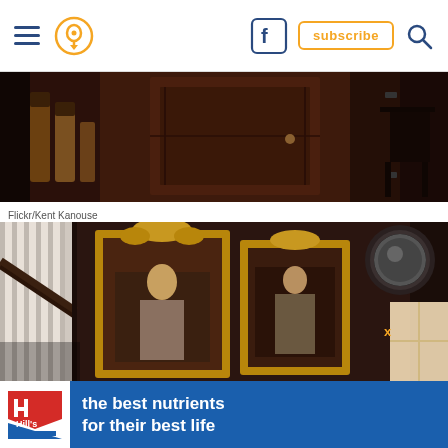Navigation bar with hamburger menu, location pin icon, Facebook icon, subscribe button, search icon
[Figure (photo): Dark interior photo of an old wooden room with liquor bottles on the left, a large wood-paneled door in the center, and a rocking chair visible on the right]
Flickr/Kent Kanouse
[Figure (photo): Dark interior photo of a Victorian-style staircase with white balusters, ornate gilded picture frames on the wall showing portrait figures, a round mirror in upper right, and bright window light on the far right]
[Figure (other): Hill's pet nutrition advertisement banner: Hill's logo on white background, blue banner with text 'the best nutrients for their best life', close X button and play button]